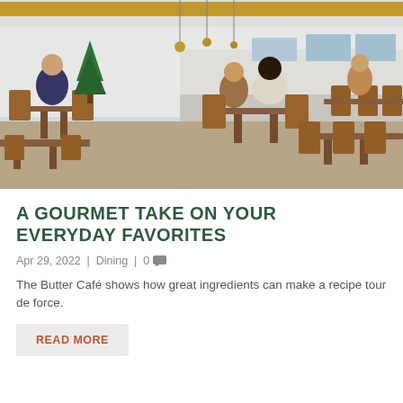[Figure (photo): Interior of a cafe restaurant with wooden chairs and tables, customers dining, a counter/bar area in the background, Christmas tree visible, pendant lights, and yellow wooden beams on the ceiling.]
A GOURMET TAKE ON YOUR EVERYDAY FAVORITES
Apr 29, 2022 | Dining | 0
The Butter Café shows how great ingredients can make a recipe tour de force.
READ MORE